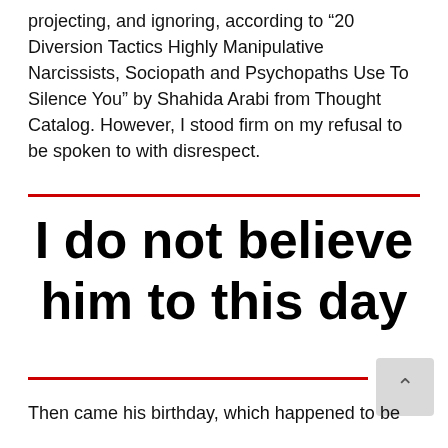projecting, and ignoring, according to “20 Diversion Tactics Highly Manipulative Narcissists, Sociopath and Psychopaths Use To Silence You” by Shahida Arabi from Thought Catalog. However, I stood firm on my refusal to be spoken to with disrespect.
I do not believe him to this day
Then came his birthday, which happened to be